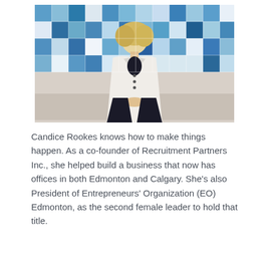[Figure (photo): A woman with blonde hair wearing a white blazer and black outfit, standing in front of a blue and white mosaic tile artwork on a wall. Professional portrait photograph.]
Candice Rookes knows how to make things happen. As a co-founder of Recruitment Partners Inc., she helped build a business that now has offices in both Edmonton and Calgary. She's also President of Entrepreneurs' Organization (EO) Edmonton, as the second female leader to hold that title.